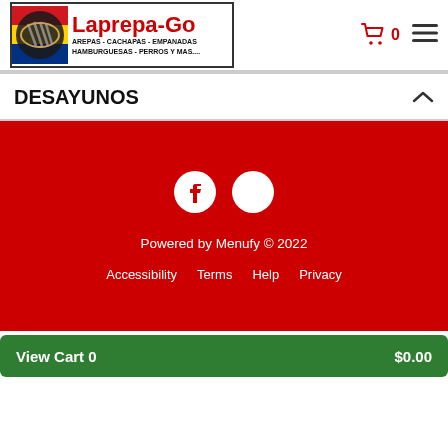[Figure (logo): Laprepa-Go restaurant logo with grilled arepa icon and Venezuelan flag colors. Text: Laprepa-Go, AREPAS - CACHAPAS - EMPANADAS, HAMBURGUESAS - PERROS Y MAS....]
[Figure (infographic): Shopping cart icon with 0 count and hamburger menu icon, both in dark red.]
DESAYUNOS
[Figure (infographic): Red footer panel with Facebook and Yelp social icons, Powered by Menufy © 2022 text, and links: Accessibility, Terms, Help, Privacy]
View Cart 0   $0.00